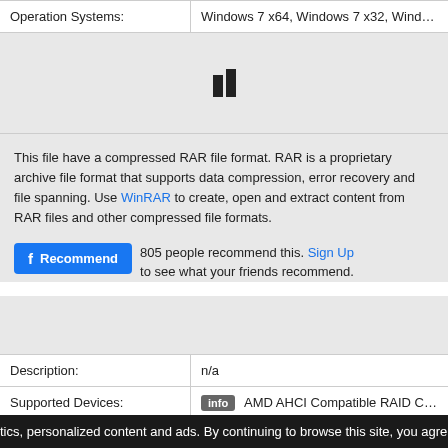| Operation Systems: |  |
| --- | --- |
| Operation Systems: | Windows 7 x64, Windows 7 x32, Windows Vista x64, Wi... |
[Figure (other): Loading indicator with two vertical bars on grey background]
This file have a compressed RAR file format. RAR is a proprietary archive file format that supports data compression, error recovery and file spanning. Use WinRAR to create, open and extract content from RAR files and other compressed file formats.
805 people recommend this. Sign Up to see what your friends recommend.
| Description: |  |
| --- | --- |
| Description: | n/a |
| Supported Devices: |  |
| --- | --- |
| Supported Devices: | info AMD AHCI Compatible RAID Controller |
|  | info AMD AHCI Compatible RAID Controller - DC5750 |
|  | info AMD RCLF... (3GIO) Filter Dri... |
|  | info AMD SATA Controller |
|  | info ATI PCI Express (3GIO) Filter Driver |
tics, personalized content and ads. By continuing to browse this site, you agre...